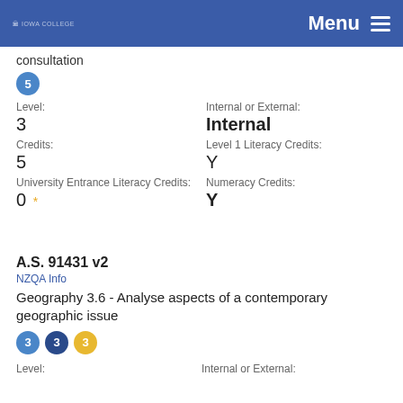IOWA COLLEGE  Menu
consultation
5
Level: 3
Internal or External: Internal
Credits: 5
Level 1 Literacy Credits: Y
University Entrance Literacy Credits: 0 *
Numeracy Credits: Y
A.S. 91431 v2
NZQA Info
Geography 3.6 - Analyse aspects of a contemporary geographic issue
3 3 3
Level:  Internal or External: